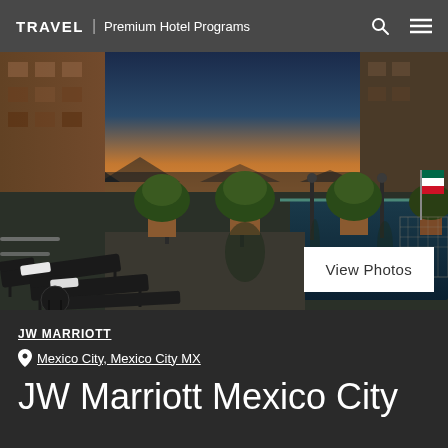TRAVEL | Premium Hotel Programs
[Figure (photo): Rooftop infinity pool at dusk with lounge chairs, potted trees, lamp posts, a Mexican flag, and a warm sunset sky over the city]
View Photos
JW MARRIOTT
Mexico City, Mexico City MX
JW Marriott Mexico City